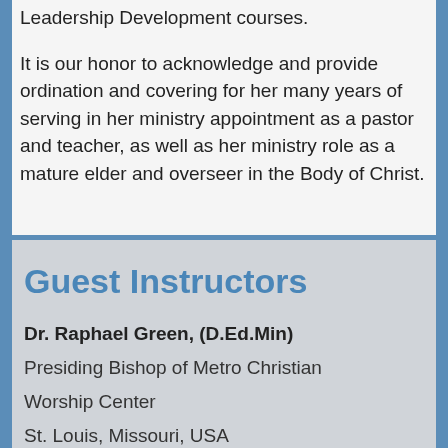Leadership Development courses.
It is our honor to acknowledge and provide ordination and covering for her many years of serving in her ministry appointment as a pastor and teacher, as well as her ministry role as a mature elder and overseer in the Body of Christ.
Guest Instructors
Dr. Raphael Green, (D.Ed.Min)
Presiding Bishop of Metro Christian
Worship Center
St. Louis, Missouri, USA